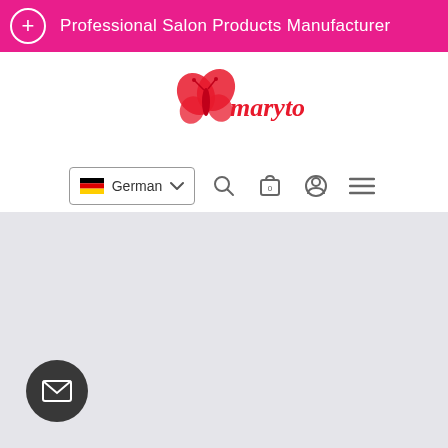Professional Salon Products Manufacturer
[Figure (logo): Maryton brand logo with red butterfly and red/orange cursive text reading 'maryton']
[Figure (screenshot): Navigation bar with German flag language selector showing 'German' with dropdown chevron, search icon, shopping bag icon with '0', user account icon, and hamburger menu icon]
[Figure (other): Gray content area (page body placeholder)]
[Figure (other): Dark circular button with envelope/mail icon in bottom left corner]